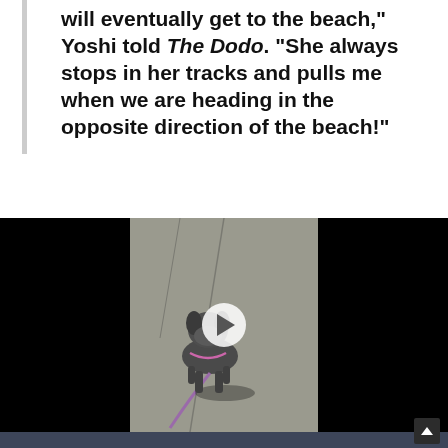will eventually get to the beach,” Yoshi told The Dodo. “She always stops in her tracks and pulls me when we are heading in the opposite direction of the beach!”
[Figure (screenshot): Video player showing a dog on a leash standing on a sidewalk/pavement. The video has black bars on left and right sides. A white play button is visible in the center.]